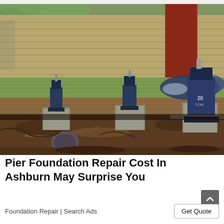[Figure (photo): Photograph of a house undergoing pier foundation repair. Multiple blue hydraulic bottle jacks are positioned on concrete piers beneath the wooden floor beams of a house, lifting the structure. The ground below is disturbed dirt with debris and roots visible. The house exterior shows horizontal wood siding and a red door frame.]
Pier Foundation Repair Cost In Ashburn May Surprise You
Foundation Repair | Search Ads